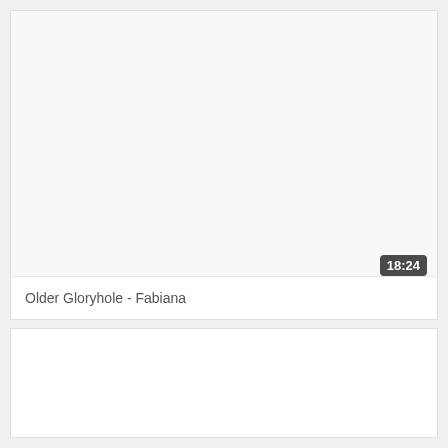[Figure (screenshot): Video thumbnail card with blank white thumbnail area, duration badge showing 18:24 in bottom right, and title 'Older Gloryhole - Fabiana' at bottom]
Older Gloryhole - Fabiana
[Figure (screenshot): Second video thumbnail card, blank white area, no visible title or duration]